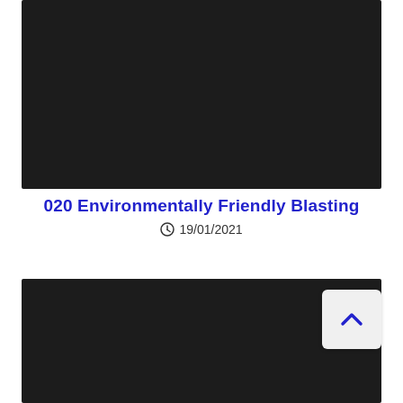[Figure (photo): Dark/black image placeholder at top of page]
020 Environmentally Friendly Blasting
⊙ 19/01/2021
[Figure (photo): Dark/black image placeholder at bottom of page with a scroll-to-top button overlay]